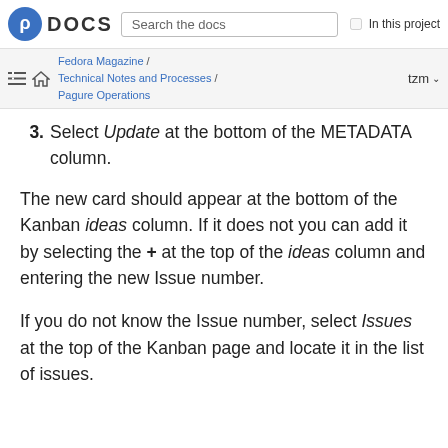Fedora DOCS | Search the docs | In this project
Fedora Magazine / Technical Notes and Processes / Pagure Operations | tzm
3. Select Update at the bottom of the METADATA column.
The new card should appear at the bottom of the Kanban ideas column. If it does not you can add it by selecting the + at the top of the ideas column and entering the new Issue number.
If you do not know the Issue number, select Issues at the top of the Kanban page and locate it in the list of issues.